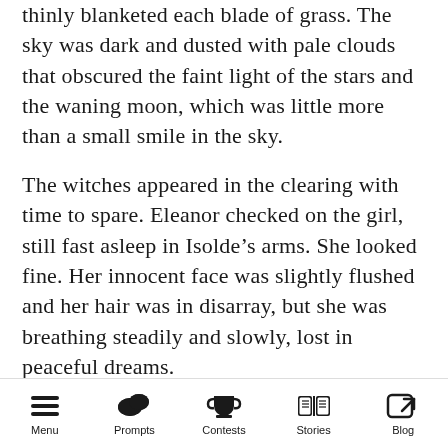thinly blanketed each blade of grass. The sky was dark and dusted with pale clouds that obscured the faint light of the stars and the waning moon, which was little more than a small smile in the sky.
The witches appeared in the clearing with time to spare. Eleanor checked on the girl, still fast asleep in Isolde’s arms. She looked fine. Her innocent face was slightly flushed and her hair was in disarray, but she was breathing steadily and slowly, lost in peaceful dreams.
Isolde laid the child down on a flat, low stone in the center of the clearing.
Menu  Prompts  Contests  Stories  Blog